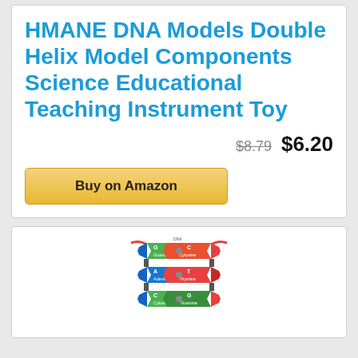HMANE DNA Models Double Helix Model Components Science Educational Teaching Instrument Toy
$8.79  $6.20
Buy on Amazon
[Figure (illustration): Colorful DNA double helix model illustration with labeled nucleotide bases (G Guanine, C Cytosine, A Adenine, T Thymine) shown as colored arrow-shaped segments forming the helix structure]